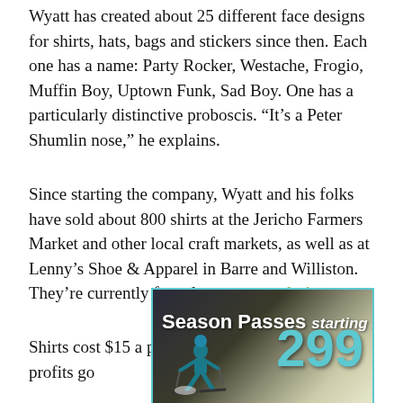Wyatt has created about 25 different face designs for shirts, hats, bags and stickers since then. Each one has a name: Party Rocker, Westache, Frogio, Muffin Boy, Uptown Funk, Sad Boy. One has a particularly distinctive proboscis. “It’s a Peter Shumlin nose,” he explains.
Since starting the company, Wyatt and his folks have sold about 800 shirts at the Jericho Farmers Market and other local craft markets, as well as at Lenny’s Shoe & Apparel in Barre and Williston. They’re currently for sale at wyseyesdesigns.com.
Shirts cost $15 a piece, or $25 for two. Most profits go
[Figure (photo): Advertisement banner showing a skier on a snowy slope with text 'Season Passes starting at $299' in white and teal colors]